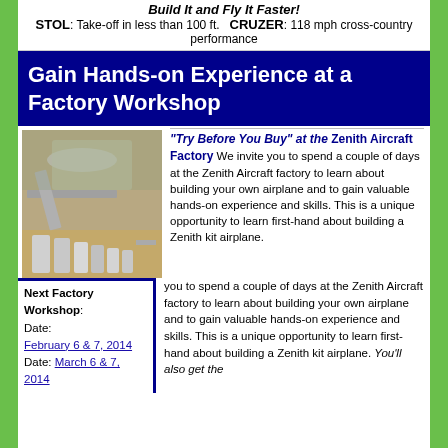Build It and Fly It Faster! STOL: Take-off in less than 100 ft. CRUZER: 118 mph cross-country performance
Gain Hands-on Experience at a Factory Workshop
[Figure (photo): Photo of aluminum aircraft parts and tools on a workbench]
"Try Before You Buy" at the Zenith Aircraft Factory We invite you to spend a couple of days at the Zenith Aircraft factory to learn about building your own airplane and to gain valuable hands-on experience and skills. This is a unique opportunity to learn first-hand about building a Zenith kit airplane. You'll also get the
Next Factory Workshop: Date: February 6 & 7, 2014 Date: March 6 & 7, 2014